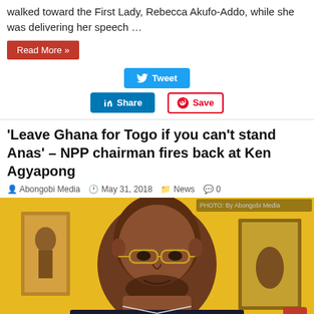walked toward the First Lady, Rebecca Akufo-Addo, while she was delivering her speech …
Read More »
[Figure (screenshot): Social media share buttons: Tweet (Twitter), Share (LinkedIn), Save (Pinterest)]
'Leave Ghana for Togo if you can't stand Anas' – NPP chairman fires back at Ken Agyapong
Abongobi Media  May 31, 2018  News  0
[Figure (photo): Photo of a man (Ken Agyapong) wearing glasses, seated in front of a yellow background with artwork visible on the wall behind him. A photo credit watermark appears in the top right corner.]